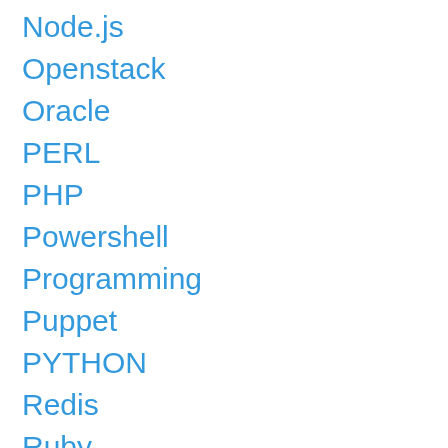Node.js
Openstack
Oracle
PERL
PHP
Powershell
Programming
Puppet
PYTHON
Redis
Ruby
Scripting
Security